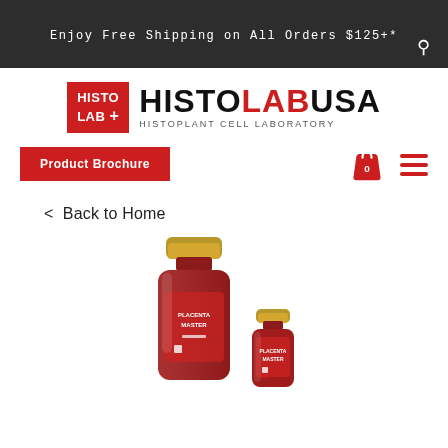Enjoy Free Shipping on All Orders $125+*
[Figure (logo): HistoLab+ logo box in red with white text, next to HISTOLABUSA wordmark with subtitle HISTOPLANT CELL LABORATORY]
Product Brochure
< Back to Home
[Figure (photo): Two red cosmetic product bottles with gold caps — a large bottle and a small vial — on white background]